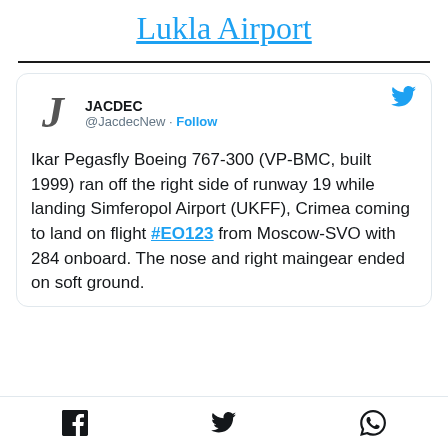Lukla Airport
JACDEC @JacdecNew · Follow
Ikar Pegasfly Boeing 767-300 (VP-BMC, built 1999) ran off the right side of runway 19 while landing Simferopol Airport (UKFF), Crimea coming to land on flight #EO123 from Moscow-SVO with 284 onboard. The nose and right maingear ended on soft ground.
Facebook Twitter WhatsApp